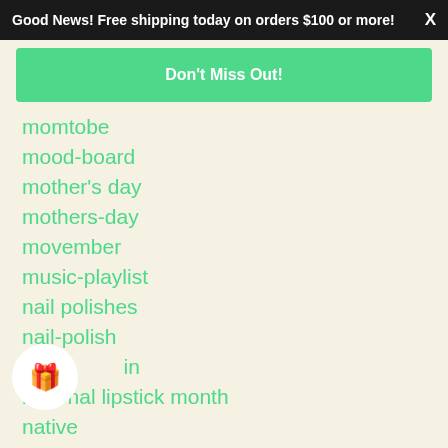Good News! Free shipping today on orders $100 or more! X
Don't Miss Out!
momtobe
mood-board
mother's day
mothers-day
movember
music-playlist
nail polishes
nail-polish
nail tarnish
national lipstick month
native